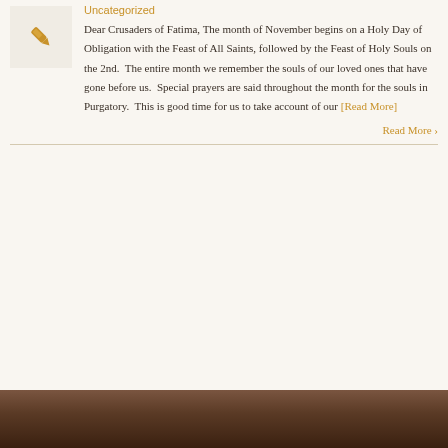Uncategorized
[Figure (illustration): Golden pen/quill icon on light beige background]
Dear Crusaders of Fatima, The month of November begins on a Holy Day of Obligation with the Feast of All Saints, followed by the Feast of Holy Souls on the 2nd. The entire month we remember the souls of our loved ones that have gone before us. Special prayers are said throughout the month for the souls in Purgatory. This is good time for us to take account of our [Read More]
Read More ›
[Figure (photo): Partial photo visible at bottom of page, showing a dark-toned image]